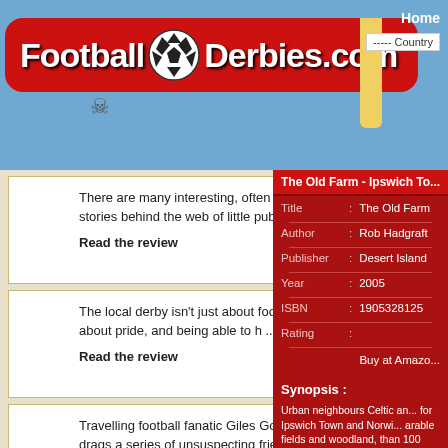[Figure (logo): FootballDerbies.com logo with soccer ball on red rounded rectangle background]
Home  ----- Country
The Old Farm - Ipswich To...
Title : The Old Farm
Author : Rob Hadgraft
Publisher : Desert Island
Year : 2005
ISBN : 1905328125
Rating :
Buy at Amazo...
Synopsis :
Urban neighbours Celtic an... for Ipswich Town and Norwi... arable fields and woodland, than 100 years, just like the outpost, but its derby game in 1902 and by 2005 there h soccer rivalry that is intens
There are many interesting, often funny, stories behind the web of little public ...
Read the review
The local derby isn't just about football, it's about pride, and being able to h ...
Read the review
Travelling football fanatic Giles Goodhead drags a series of unsuspecting friend ...
Read the review
The following stories will guide you through Brazil : Brazilian players in